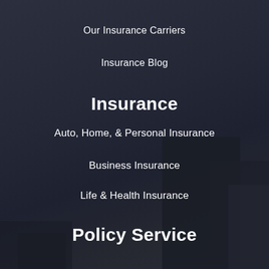Our Insurance Carriers
Insurance Blog
Insurance
Auto, Home, & Personal Insurance
Business Insurance
Life & Health Insurance
Policy Service